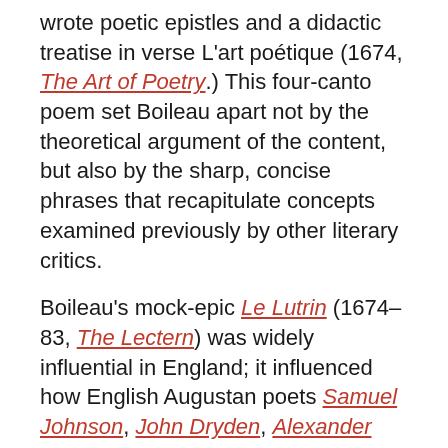wrote poetic epistles and a didactic treatise in verse L'art poétique (1674, The Art of Poetry.) This four-canto poem set Boileau apart not by the theoretical argument of the content, but also by the sharp, concise phrases that recapitulate concepts examined previously by other literary critics.
Boileau's mock-epic Le Lutrin (1674–83, The Lectern) was widely influential in England; it influenced how English Augustan poets Samuel Johnson, John Dryden, Alexander Pope, and John Oldham rephrased the great Latin poets.
In 1677, Boileau was appointed historiographer royal. He returned to literary